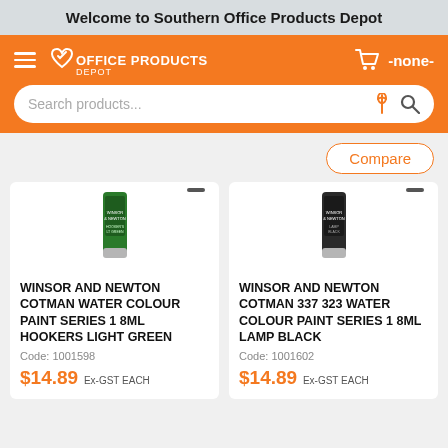Welcome to Southern Office Products Depot
[Figure (screenshot): Orange navigation bar with hamburger menu, Office Products Depot logo, cart icon showing -none-, and a white search bar with microphone and search icons]
Compare
[Figure (photo): Winsor and Newton Cotman Water Colour Paint green tube (Hookers Light Green)]
WINSOR AND NEWTON COTMAN WATER COLOUR PAINT SERIES 1 8ML HOOKERS LIGHT GREEN
Code: 1001598
$14.89 Ex-GST EACH
[Figure (photo): Winsor and Newton Cotman Water Colour Paint black tube (Lamp Black)]
WINSOR AND NEWTON COTMAN 337 323 WATER COLOUR PAINT SERIES 1 8ML LAMP BLACK
Code: 1001602
$14.89 Ex-GST EACH